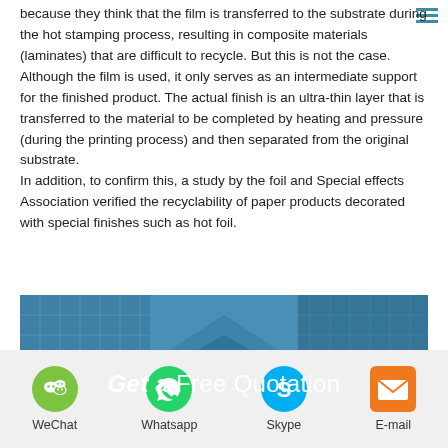because they think that the film is transferred to the substrate during the hot stamping process, resulting in composite materials (laminates) that are difficult to recycle. But this is not the case. Although the film is used, it only serves as an intermediate support for the finished product. The actual finish is an ultra-thin layer that is transferred to the material to be completed by heating and pressure (during the printing process) and then separated from the original substrate.
In addition, to confirm this, a study by the foil and Special effects Association verified the recyclability of paper products decorated with special finishes such as hot foil.
[Figure (illustration): Banner image with blue-toned photo of glass skyscraper buildings from below, overlaid with diamond/chevron shapes and the text 'Get a Free Quotation']
[Figure (infographic): Footer bar with four contact method icons and labels: WeChat (green panda icon), Whatsapp (green phone icon), Skype (blue S icon), E-mail (orange envelope icon)]